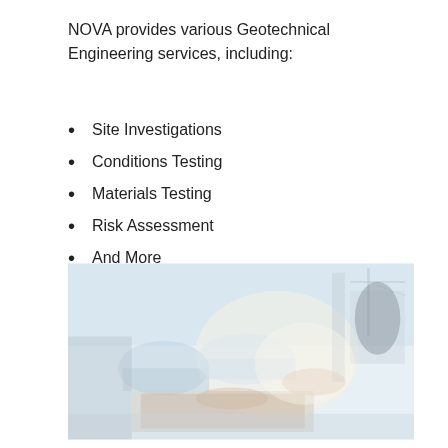NOVA provides various Geotechnical Engineering services, including:
Site Investigations
Conditions Testing
Materials Testing
Risk Assessment
And More
[Figure (photo): Construction workers wearing hard hats looking at a laptop computer, with a double exposure of a construction crane and building in the background. Faded/washed out color tone.]